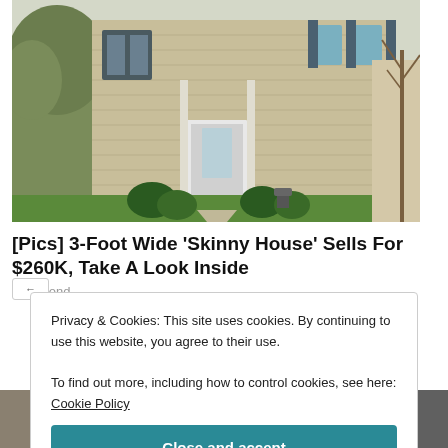[Figure (photo): Exterior photo of a two-story tan/beige colonial house with blue shutters, white front door, evergreen shrubs, and green lawn. Trees visible in background.]
[Pics] 3-Foot Wide 'Skinny House' Sells For $260K, Take A Look Inside
BuzzFond
Privacy & Cookies: This site uses cookies. By continuing to use this website, you agree to their use.
To find out more, including how to control cookies, see here: Cookie Policy
Close and accept
[Figure (photo): Two partial thumbnail images at the bottom of the page, partially obscured by the cookie consent overlay.]